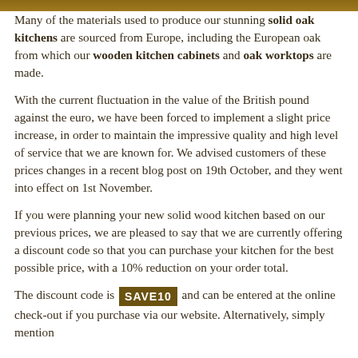[Figure (other): Decorative image bar at top of page, brown/tan color]
Many of the materials used to produce our stunning solid oak kitchens are sourced from Europe, including the European oak from which our wooden kitchen cabinets and oak worktops are made.
With the current fluctuation in the value of the British pound against the euro, we have been forced to implement a slight price increase, in order to maintain the impressive quality and high level of service that we are known for. We advised customers of these prices changes in a recent blog post on 19th October, and they went into effect on 1st November.
If you were planning your new solid wood kitchen based on our previous prices, we are pleased to say that we are currently offering a discount code so that you can purchase your kitchen for the best possible price, with a 10% reduction on your order total.
The discount code is SAVE10 and can be entered at the online check-out if you purchase via our website. Alternatively, simply mention